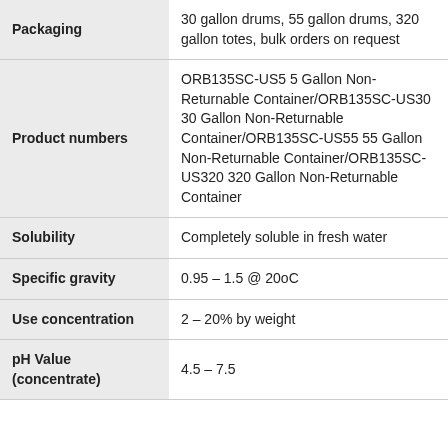| Property | Value |
| --- | --- |
| Packaging | 30 gallon drums, 55 gallon drums, 320 gallon totes, bulk orders on request |
| Product numbers | ORB135SC-US5 5 Gallon Non-Returnable Container/ORB135SC-US30 30 Gallon Non-Returnable Container/ORB135SC-US55 55 Gallon Non-Returnable Container/ORB135SC-US320 320 Gallon Non-Returnable Container |
| Solubility | Completely soluble in fresh water |
| Specific gravity | 0.95 – 1.5 @ 20oC |
| Use concentration | 2 – 20% by weight |
| pH Value (concentrate) | 4.5 – 7.5 |